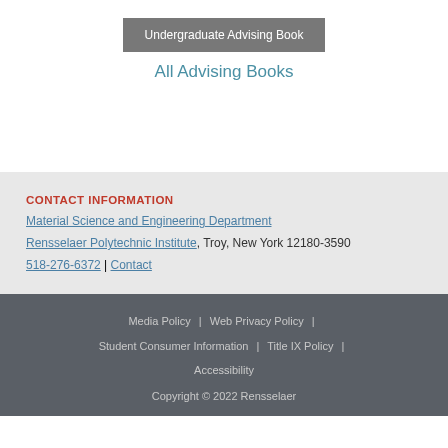Undergraduate Advising Book
All Advising Books
CONTACT INFORMATION
Material Science and Engineering Department
Rensselaer Polytechnic Institute, Troy, New York 12180-3590
518-276-6372 | Contact
Media Policy | Web Privacy Policy | Student Consumer Information | Title IX Policy | Accessibility
Copyright © 2022 Rensselaer